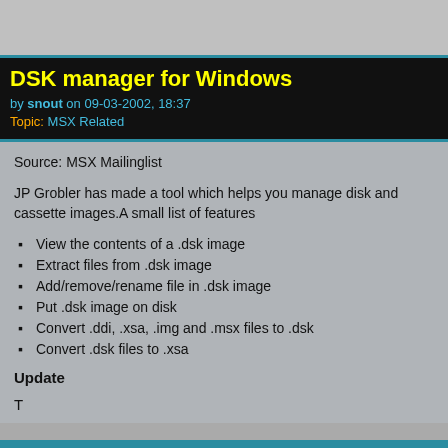DSK manager for Windows
by snout on 09-03-2002, 18:37
Topic: MSX Related
Source: MSX Mailinglist
JP Grobler has made a tool which helps you manage disk and cassette images.A small list of features
View the contents of a .dsk image
Extract files from .dsk image
Add/remove/rename file in .dsk image
Put .dsk image on disk
Convert .ddi, .xsa, .img and .msx files to .dsk
Convert .dsk files to .xsa
Update
T